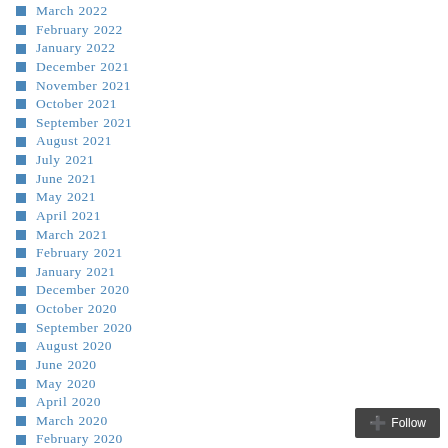March 2022
February 2022
January 2022
December 2021
November 2021
October 2021
September 2021
August 2021
July 2021
June 2021
May 2021
April 2021
March 2021
February 2021
January 2021
December 2020
October 2020
September 2020
August 2020
June 2020
May 2020
April 2020
March 2020
February 2020
January 2020
December 2019